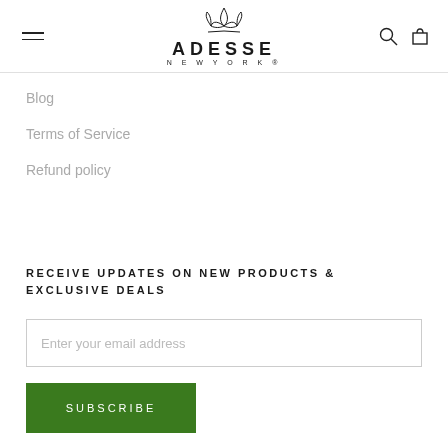[Figure (logo): Adesse New York logo with lotus flower graphic above the brand name]
Blog
Terms of Service
Refund policy
RECEIVE UPDATES ON NEW PRODUCTS & EXCLUSIVE DEALS
Enter your email address
SUBSCRIBE